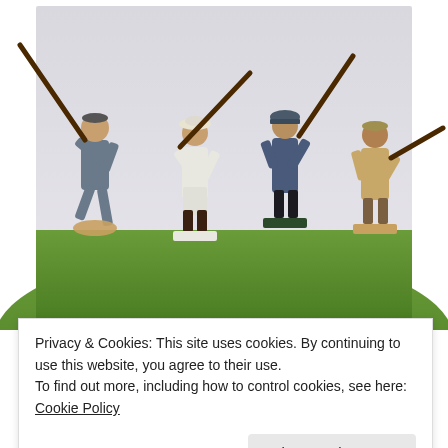[Figure (photo): Four painted 54mm WW2 Italian Infantry toy soldier figurines standing on a grassy green surface against a light grey background. Each figure carries a rifle. From left: grey uniform figure in dramatic pose, white uniform figure with pith helmet, blue uniform figure, tan/khaki uniform figure.]
Four figure samples of Hing Fat 54mm WW2 Italian Infantry
Privacy & Cookies: This site uses cookies. By continuing to use this website, you agree to their use.
To find out more, including how to control cookies, see here: Cookie Policy